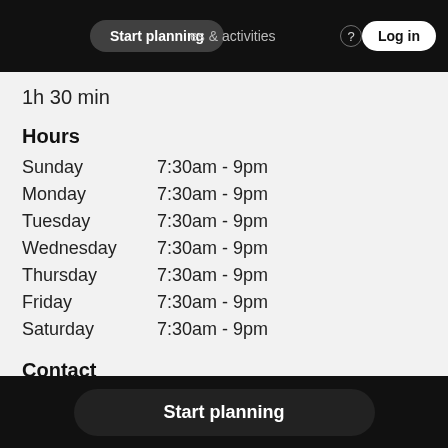Start planning  experiences & activities  ?  Log in
1h 30 min
Hours
| Day | Hours |
| --- | --- |
| Sunday | 7:30am - 9pm |
| Monday | 7:30am - 9pm |
| Tuesday | 7:30am - 9pm |
| Wednesday | 7:30am - 9pm |
| Thursday | 7:30am - 9pm |
| Friday | 7:30am - 9pm |
| Saturday | 7:30am - 9pm |
Contact
Grajska cesta 2,
8222 Otočec
Start planning